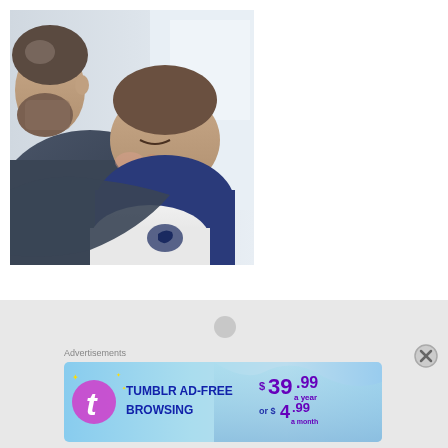[Figure (photo): A man with a beard holding a sleeping toddler child. The child is resting their head on the man's shoulder with eyes closed, wearing a white top with a navy blue kangaroo logo. The man is wearing a dark navy/blue hoodie. Background appears to be an airplane interior.]
Advertisements
[Figure (other): Tumblr Ad-Free Browsing advertisement banner. Shows Tumblr logo with stylized 't', text 'TUMBLR AD-FREE BROWSING', price '$39.99 a year or $4.99 a month' on a blue gradient background.]